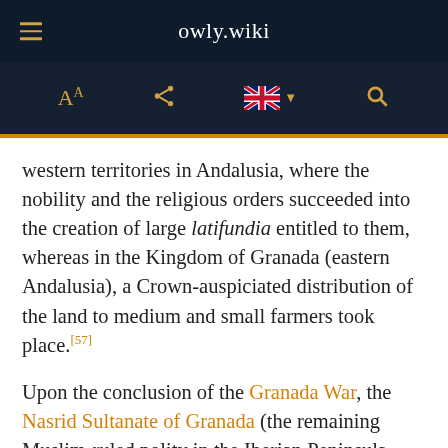owly.wiki
western territories in Andalusia, where the nobility and the religious orders succeeded into the creation of large latifundia entitled to them, whereas in the Kingdom of Granada (eastern Andalusia), a Crown-auspiciated distribution of the land to medium and small farmers took place.[57]
Upon the conclusion of the Granada War, the Nasrid Sultanate of Granada (the remaining Muslim-ruled polity in the Iberian Peninsula after 1246) capitulated in 1492 to the military strength of the Catholic Monarchs, and it was integrated from then on in the Crown of